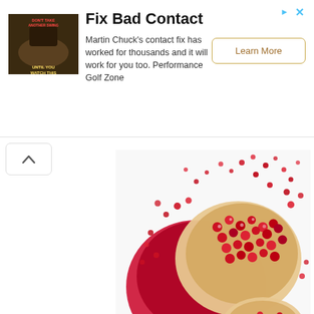[Figure (screenshot): Advertisement banner: golf instruction thumbnail image, 'Fix Bad Contact' headline, description text, and 'Learn More' button]
Fix Bad Contact
Martin Chuck's contact fix has worked for thousands and it will work for you too. Performance Golf Zone
[Figure (photo): Pomegranate fruit exploding with seeds scattering on white background]
BODY AND MIND
[Figure (photo): Two women facing each other in yoga/meditation pose outdoors]